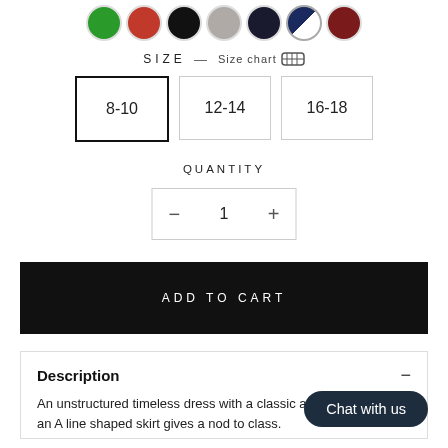[Figure (illustration): Row of circular color swatches: green, red, black, gray, dark navy, navy stripe, dark red]
SIZE — Size chart
8-10   12-14   16-18
QUANTITY
− 1 +
ADD TO CART
Description
An unstructured timeless dress with a classic... and an A line shaped skirt gives a nod to class... Stunning balloon sleeves fixed with bows, a... overskirt cascades into an asymmetrical hemline. The design